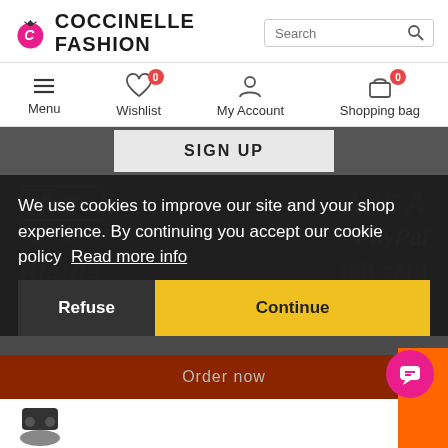[Figure (screenshot): Coccinelle Fashion website header with logo, search bar, and navigation icons (Menu, Wishlist, My Account, Shopping bag). Below is a dark section with a SIGN UP button and payment logos (iDEAL, VISA, MasterCard, PayPal, Klarna, gift card). A cookie consent overlay is visible with 'Refuse' and 'Continue' buttons, and an 'Order now' brown bar at the bottom.]